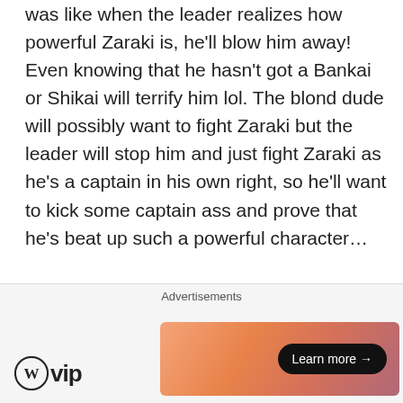was like when the leader realizes how powerful Zaraki is, he'll blow him away! Even knowing that he hasn't got a Bankai or Shikai will terrify him lol. The blond dude will possibly want to fight Zaraki but the leader will stop him and just fight Zaraki as he's a captain in his own right, so he'll want to kick some captain ass and prove that he's beat up such a powerful character…
★ Like
Ne3X7
July 25, 2012 at 5:46 pm
Advertisements
[Figure (logo): WordPress VIP logo with circle W icon and 'vip' text]
[Figure (illustration): Advertisement banner with gradient orange/pink background and 'Learn more →' button]